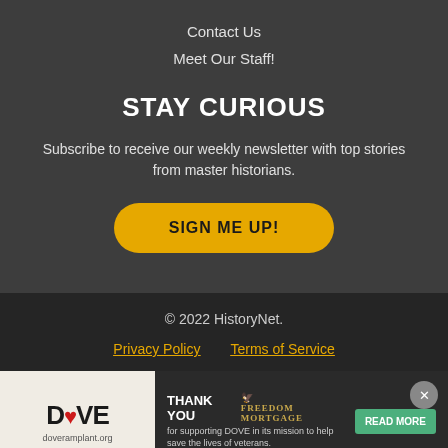Contact Us
Meet Our Staff!
STAY CURIOUS
Subscribe to receive our weekly newsletter with top stories from master historians.
SIGN ME UP!
© 2022 HistoryNet.
Privacy Policy    Terms of Service
[Figure (infographic): Advertisement banner: DOVE organization with heart logo and doveramplant.org URL, alongside dark panel reading THANK YOU FREEDOM MORTGAGE for supporting DOVE in its mission to help save the lives of veterans, with a READ MORE green button and eagle emblem.]